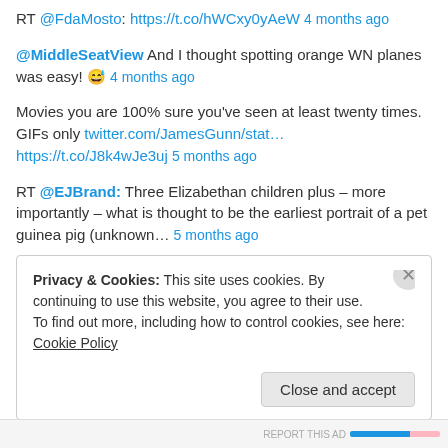RT @FdaMosto: https://t.co/hWCxy0yAeW 4 months ago
@MiddleSeatView And I thought spotting orange WN planes was easy! 😅 4 months ago
Movies you are 100% sure you've seen at least twenty times. GIFs only twitter.com/JamesGunn/stat… https://t.co/J8k4wJe3uj 5 months ago
RT @EJBrand: Three Elizabethan children plus – more importantly – what is thought to be the earliest portrait of a pet guinea pig (unknown… 5 months ago
Follow @daydreamtourist
Privacy & Cookies: This site uses cookies. By continuing to use this website, you agree to their use. To find out more, including how to control cookies, see here: Cookie Policy
Close and accept